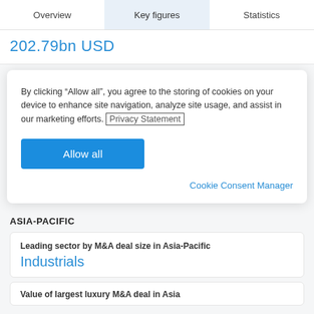Overview | Key figures | Statistics
202.79bn USD
By clicking “Allow all”, you agree to the storing of cookies on your device to enhance site navigation, analyze site usage, and assist in our marketing efforts. Privacy Statement
Allow all
Cookie Consent Manager
ASIA-PACIFIC
Leading sector by M&A deal size in Asia-Pacific
Industrials
Value of largest luxury M&A deal in Asia